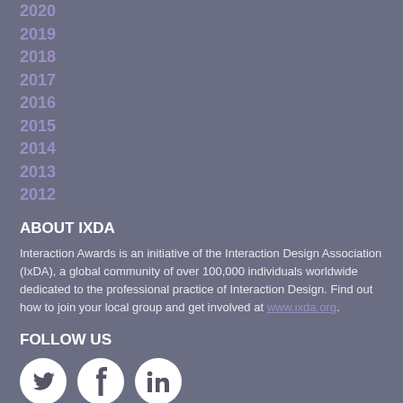2020
2019
2018
2017
2016
2015
2014
2013
2012
ABOUT IXDA
Interaction Awards is an initiative of the Interaction Design Association (IxDA), a global community of over 100,000 individuals worldwide dedicated to the professional practice of Interaction Design. Find out how to join your local group and get involved at www.ixda.org.
FOLLOW US
[Figure (illustration): Three social media icons in white circles: Twitter bird icon, Facebook f icon, LinkedIn in icon]
© 2012 - 2022 Interaction Design Association